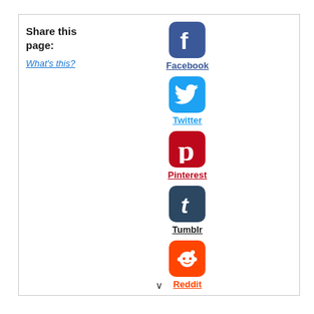Share this page:
What's this?
[Figure (logo): Facebook logo icon - blue rounded square with white F]
Facebook
[Figure (logo): Twitter logo icon - light blue rounded square with white bird]
Twitter
[Figure (logo): Pinterest logo icon - dark red rounded square with white P]
Pinterest
[Figure (logo): Tumblr logo icon - dark navy rounded square with white t]
Tumblr
[Figure (logo): Reddit logo icon - orange rounded square with white alien mascot]
Reddit